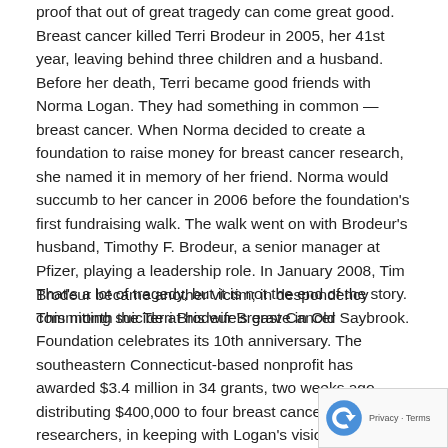proof that out of great tragedy can come great good. Breast cancer killed Terri Brodeur in 2005, her 41st year, leaving behind three children and a husband. Before her death, Terri became good friends with Norma Logan. They had something in common — breast cancer. When Norma decided to create a foundation to raise money for breast cancer research, she named it in memory of her friend. Norma would succumb to her cancer in 2006 before the foundation's first fundraising walk. The walk went on with Brodeur's husband, Timothy F. Brodeur, a senior manager at Pfizer, playing a leadership role. In January 2008, Tim Brodeur became another victim; in despondency committing suicide at his wife's grave in Old Saybrook.
That's a lot of tragedy, but it is not the end of the story. This month the Terri Brodeur Breast Cancer Foundation celebrates its 10th anniversary. The southeastern Connecticut-based nonprofit has awarded $3.4 million in 34 grants, two weeks ago distributing $400,000 to four breast cancer researchers, in keeping with Logan's vision — reflecting her concern that education and advocacy organizations spend too much money